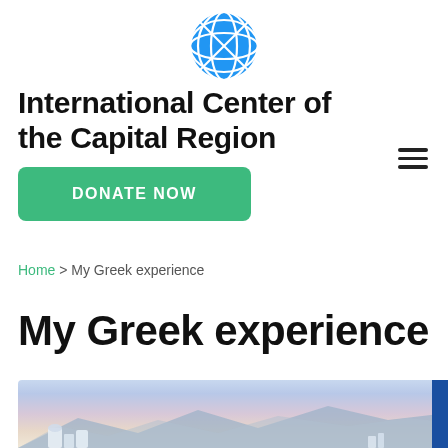[Figure (logo): Blue globe/sphere logo with grid lines forming an X pattern]
International Center of the Capital Region
DONATE NOW
Home > My Greek experience
My Greek experience
[Figure (photo): Scenic photo of what appears to be Santorini, Greece, with whitewashed buildings in foreground and mountains/caldera in background at dusk/dawn with purple-pink sky]